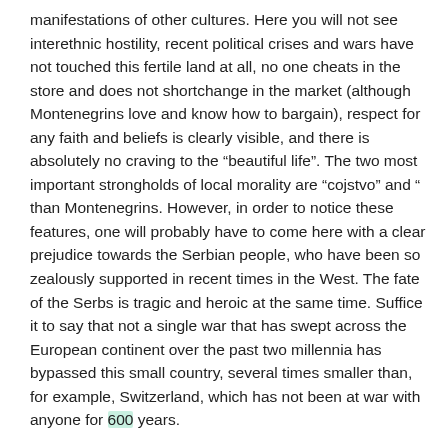manifestations of other cultures. Here you will not see interethnic hostility, recent political crises and wars have not touched this fertile land at all, no one cheats in the store and does not shortchange in the market (although Montenegrins love and know how to bargain), respect for any faith and beliefs is clearly visible, and there is absolutely no craving to the “beautiful life”. The two most important strongholds of local morality are “cojstvo” and “ than Montenegrins. However, in order to notice these features, one will probably have to come here with a clear prejudice towards the Serbian people, who have been so zealously supported in recent times in the West. The fate of the Serbs is tragic and heroic at the same time. Suffice it to say that not a single war that has swept across the European continent over the past two millennia has bypassed this small country, several times smaller than, for example, Switzerland, which has not been at war with anyone for 600 years.